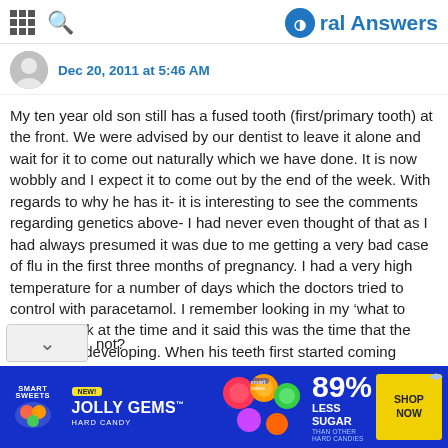Oral Answers
Dec 20, 2011 at 5:46 AM
My ten year old son still has a fused tooth (first/primary tooth) at the front. We were advised by our dentist to leave it alone and wait for it to come out naturally which we have done. It is now wobbly and I expect it to come out by the end of the week. With regards to why he has it- it is interesting to see the comments regarding genetics above- I had never even thought of that as I had always presumed it was due to me getting a very bad case of flu in the first three months of pregnancy. I had a very high temperature for a number of days which the doctors tried to control with paracetamol. I remember looking in my 'what to expect' book at the time and it said this was the time that the teeth were developing. When his teeth first started coming though and I noticed he had a double tooth at the front, I immediately presumed it was due to the high temperature- but not?
[Figure (infographic): Advertisement banner for Smart Sweets Jolly Gems Hard Candy - 89% Less Sugar than other hard candies. Shop Now button.]